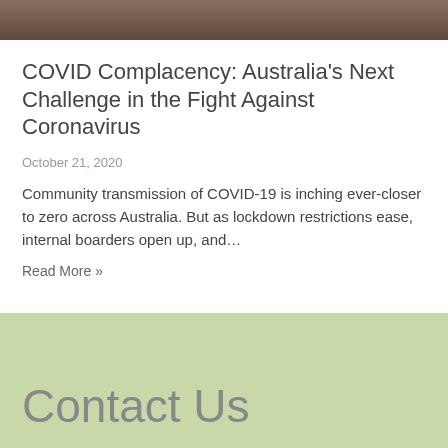[Figure (photo): Partial photo strip at top showing a dark desk/office surface]
COVID Complacency: Australia's Next Challenge in the Fight Against Coronavirus
October 21, 2020
Community transmission of COVID-19 is inching ever-closer to zero across Australia. But as lockdown restrictions ease, internal boarders open up, and...
Read More »
Contact Us